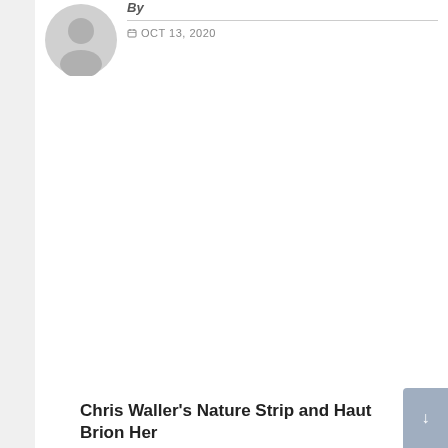[Figure (illustration): Generic user avatar circle icon, grey silhouette of a person]
By
OCT 13, 2020
Chris Waller's Nature Strip and Haut Brion Her